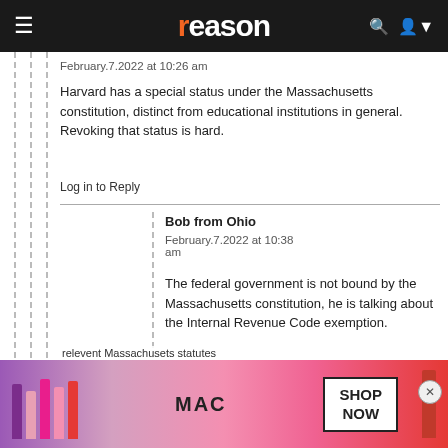reason
February.7.2022 at 10:26 am
Harvard has a special status under the Massachusetts constitution, distinct from educational institutions in general. Revoking that status is hard.
Log in to Reply
Bob from Ohio
February.7.2022 at 10:38 am
The federal government is not bound by the Massachusetts constitution, he is talking about the Internal Revenue Code exemption.
Log in to Reply
Joe_dallas
February.7.2022 at 12:31 pm
[Figure (photo): MAC cosmetics advertisement with lipsticks and SHOP NOW button]
relevent Massachusets statutes